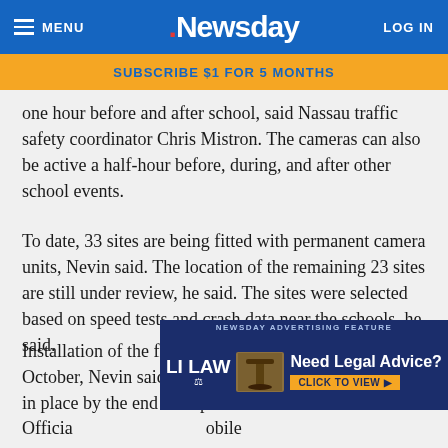MENU | Newsday | LOG IN
SUBSCRIBE $1 FOR 5 MONTHS
one hour before and after school, said Nassau traffic safety coordinator Chris Mistron. The cameras can also be active a half-hour before, during, and after other school events.
To date, 33 sites are being fitted with permanent camera units, Nevin said. The location of the remaining 23 sites are still under review, he said. The sites were selected based on speed tests and crash data near the schools, he said.
Installation of the fixed cameras will be completed by October, Nevin said. All of the mobile cameras will be in place by the end of September.
[Figure (infographic): Newsday Advertising Feature banner ad: LI LAW with scales of justice logo, gavel image, 'Need Legal Advice? CLICK TO VIEW' text on dark blue background]
Officia... obile